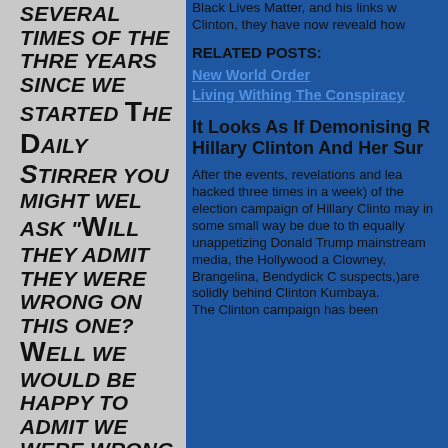SEVERAL TIMES OF THE THRE YEARS SINCE WE STARTED THE DAILY STIRRER YOU MIGHT WEL ASK "WILL THEY ADMIT THEY WERE WRONG ON THIS ONE? WELL WE WOULD BE HAPPY TO ADMIT WE WERE WRONG HAD WE BEEN WRONG. THINGS ARE NEVER WHAT THEY SEEM TO BE HOWEVER
Black Lives Matter, and his links w Clinton, they have now reveald how
RELATED POSTS:
New World Order
Living Withing The Conspiracy
It Looks As If Demonising R Hillary Clinton And Her Sur
After the events, revelations and lea hacked three times in a week) of the election campaign of Hillary Clinto may in some small way be due to th equally unappetizing Donald Trump mainstream media, the Hollywood a Clowney, Brangelina, Bendydick C suspects,)are solidly behind Clinton Kumbaya.
The Clinton campaign has been